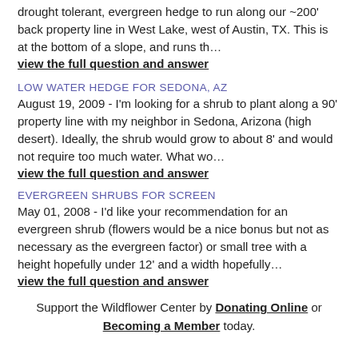drought tolerant, evergreen hedge to run along our ~200' back property line in West Lake, west of Austin, TX. This is at the bottom of a slope, and runs th…
view the full question and answer
LOW WATER HEDGE FOR SEDONA, AZ
August 19, 2009 - I'm looking for a shrub to plant along a 90' property line with my neighbor in Sedona, Arizona (high desert). Ideally, the shrub would grow to about 8' and would not require too much water. What wo…
view the full question and answer
EVERGREEN SHRUBS FOR SCREEN
May 01, 2008 - I'd like your recommendation for an evergreen shrub (flowers would be a nice bonus but not as necessary as the evergreen factor) or small tree with a height hopefully under 12' and a width hopefully…
view the full question and answer
Support the Wildflower Center by Donating Online or Becoming a Member today.